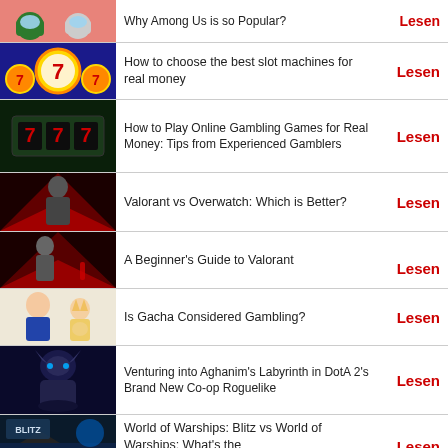Why Among Us is so Popular?
How to choose the best slot machines for real money
How to Play Online Gambling Games for Real Money: Tips from Experienced Gamblers
Valorant vs Overwatch: Which is Better?
A Beginner's Guide to Valorant
Is Gacha Considered Gambling?
Venturing into Aghanim's Labyrinth in DotA 2's Brand New Co-op Roguelike
World of Warships: Blitz vs World of Warships: What's the